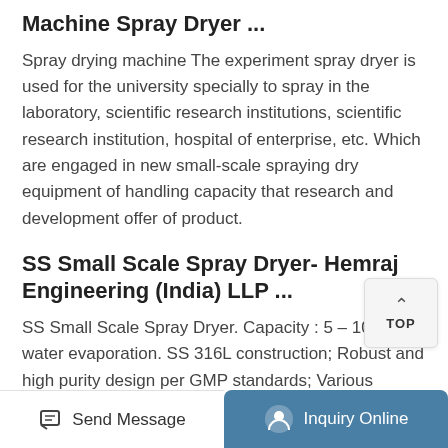Machine Spray Dryer ...
Spray drying machine The experiment spray dryer is used for the university specially to spray in the laboratory, scientific research institutions, scientific research institution, hospital of enterprise, etc. Which are engaged in new small-scale spraying dry equipment of handling capacity that research and development offer of product.
SS Small Scale Spray Dryer- Hemraj Engineering (India) LLP ...
SS Small Scale Spray Dryer. Capacity : 5 – 10 kg / hr water evaporation. SS 316L construction; Robust and high purity design per GMP standards; Various pharmaceutical grade finishes; Sanitary
Send Message    Inquiry Online